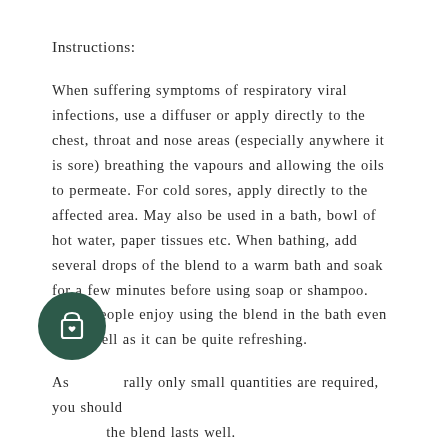Instructions:
When suffering symptoms of respiratory viral infections, use a diffuser or apply directly to the chest, throat and nose areas (especially anywhere it is sore) breathing the vapours and allowing the oils to permeate. For cold sores, apply directly to the affected area. May also be used in a bath, bowl of hot water, paper tissues etc. When bathing, add several drops of the blend to a warm bath and soak for a few minutes before using soap or shampoo. Some people enjoy using the blend in the bath even when well as it can be quite refreshing.
As generally only small quantities are required, you should find the blend lasts well.
Storage: